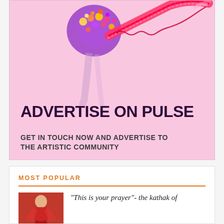[Figure (illustration): Advertisement banner with pink background featuring a colorful decorated dancer figure (Kathak dancer) with ornate purple and red/pink decorative elements. Text overlay: ADVERTISE ON PULSE / GET IN TOUCH NOW AND ADVERTISE TO THE ARTISTIC COMMUNITY]
MOST POPULAR
[Figure (photo): Small thumbnail photo of a Kathak dancer in red costume]
“This is your prayer”- the kathak of